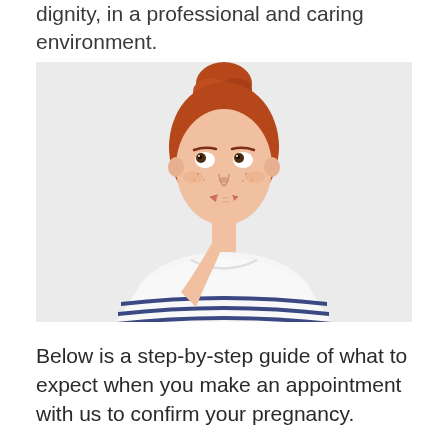dignity, in a professional and caring environment.
[Figure (photo): Young woman with red hair in a bun, wearing a white striped top, holding one finger to her chin in a thoughtful/questioning pose, against a light grey/white background.]
Below is a step-by-step guide of what to expect when you make an appointment with us to confirm your pregnancy.